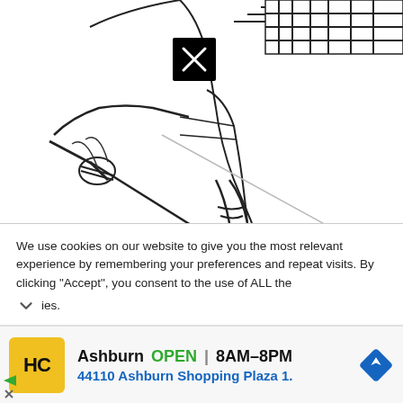[Figure (illustration): Line art illustration of a samurai or warrior figure holding a sword/weapon, shown from partial body view with armor. A black square close (X) button is overlaid on the illustration.]
We use cookies on our website to give you the most relevant experience by remembering your preferences and repeat visits. By clicking “Accept”, you consent to the use of ALL the cookies.
[Figure (screenshot): Advertisement bar showing HC logo (yellow circle with HC text), Ashburn location with OPEN status 8AM-8PM, address 44110 Ashburn Shopping Plaza 1., and a blue navigation diamond icon. Small play and close arrows at bottom left.]